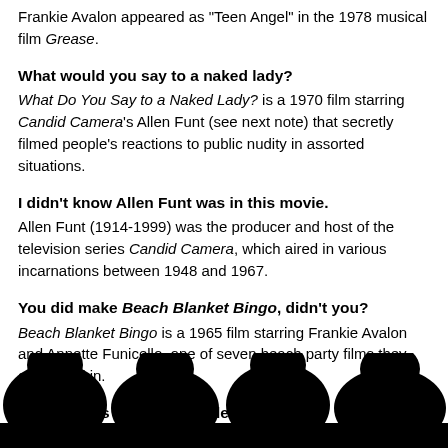Frankie Avalon appeared as "Teen Angel" in the 1978 musical film Grease.
What would you say to a naked lady?
What Do You Say to a Naked Lady? is a 1970 film starring Candid Camera's Allen Funt (see next note) that secretly filmed people's reactions to public nudity in assorted situations.
I didn't know Allen Funt was in this movie.
Allen Funt (1914-1999) was the producer and host of the television series Candid Camera, which aired in various incarnations between 1948 and 1967.
You did make Beach Blanket Bingo, didn't you?
Beach Blanket Bingo is a 1965 film starring Frankie Avalon and Annette Funicello, one of seven beach party films they co-starred in.
And a year's supply of Turtle Wax.
Wa... car-... ts, i... ...xes ...